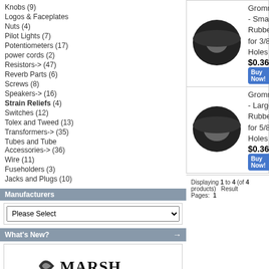Knobs (9)
Logos & Faceplates
Nuts (4)
Pilot Lights (7)
Potentiometers (17)
power cords (2)
Resistors-> (47)
Reverb Parts (6)
Screws (8)
Speakers-> (16)
Strain Reliefs (4)
Switches (12)
Tolex and Tweed (13)
Transformers-> (35)
Tubes and Tube Accessories-> (36)
Wire (11)
Fuseholders (3)
Jacks and Plugs (10)
Manufacturers
What's New?
[Figure (logo): Marsh Amplification logo]
#6-32 1/2 " Screws $2.00
Quick Find
[Figure (photo): Grommet - Small Rubber for 3/8" Holes]
Grommet - Small Rubber for 3/8" Holes
$0.36
[Figure (photo): Grommet - Large Rubber for 5/8" Holes]
Grommet - Large Rubber for 5/8" Holes
$0.36
Displaying 1 to 4 (of 4 products)   Result Pages:  1